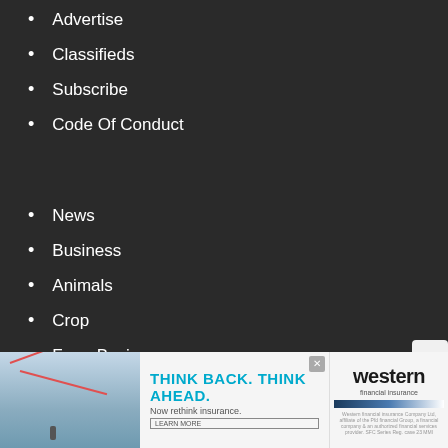Advertise
Classifieds
Subscribe
Code Of Conduct
News
Business
Animals
Crop
Farm Basics
Lifestyle
[Figure (screenshot): Advertisement banner for Western Insurance: 'THINK BACK. THINK AHEAD. Now rethink insurance. LEARN MORE' with an irrigation pivot image on the left and Western logo on the right.]